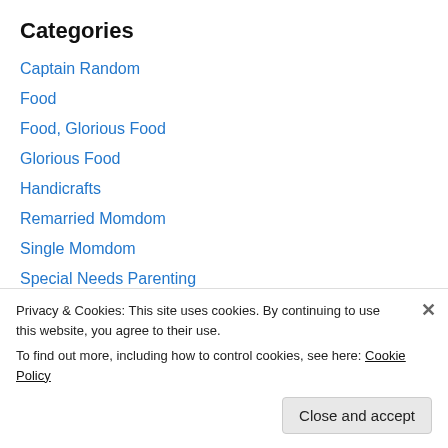Categories
Captain Random
Food
Food, Glorious Food
Glorious Food
Handicrafts
Remarried Momdom
Single Momdom
Special Needs Parenting
[Figure (illustration): Orange and white patterned decorative image strip]
Privacy & Cookies: This site uses cookies. By continuing to use this website, you agree to their use.
To find out more, including how to control cookies, see here: Cookie Policy
Close and accept